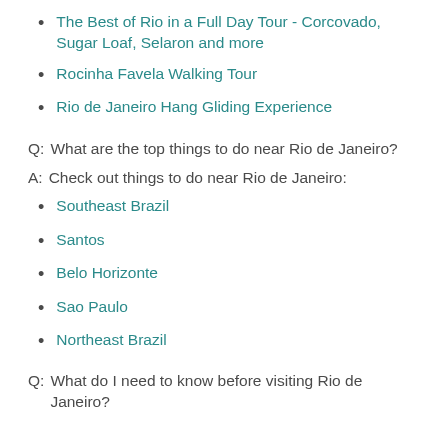The Best of Rio in a Full Day Tour - Corcovado, Sugar Loaf, Selaron and more
Rocinha Favela Walking Tour
Rio de Janeiro Hang Gliding Experience
Q: What are the top things to do near Rio de Janeiro?
A: Check out things to do near Rio de Janeiro:
Southeast Brazil
Santos
Belo Horizonte
Sao Paulo
Northeast Brazil
Q: What do I need to know before visiting Rio de Janeiro?